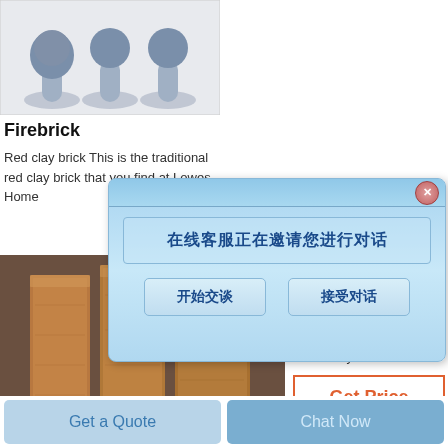[Figure (photo): Product photo showing three ball-shaped objects on suction cup bases, appearing to be furniture feet or decorative items, on white background]
Firebrick
Red clay brick This is the traditional red clay brick that you find at Lowes Home
[Figure (screenshot): Chinese language chat popup overlay dialog with title text '在线客服正在邀请您进行对话' and two buttons '开始交谈' and '接受对话']
Materials For
[Figure (photo): Photo of firebrick / refractory brick pieces showing golden-brown porous texture]
Based On Shapes The most commonly used refractory
Get Price
Get a Quote
Chat Now